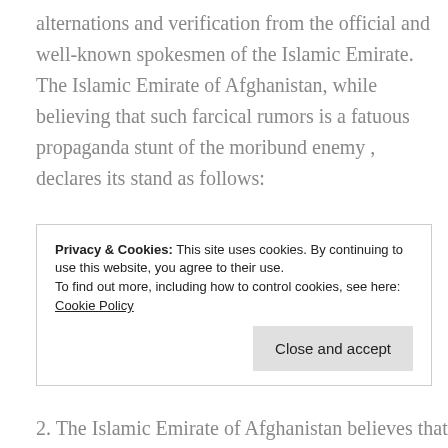alternations and verification from the official and well-known spokesmen of the Islamic Emirate. The Islamic Emirate of Afghanistan, while believing that such farcical rumors is a fatuous propaganda stunt of the moribund enemy , declares its stand as follows:
1. The Islamic Emirate of Afghanistan emphasizes its unwavering stand regarding talks with the Americans and considers unconditional withdrawal of all invading forces from Afghanistan as a prerequisite for talks and negotiation with the
Privacy & Cookies: This site uses cookies. By continuing to use this website, you agree to their use. To find out more, including how to control cookies, see here: Cookie Policy
Close and accept
2. The Islamic Emirate of Afghanistan believes that